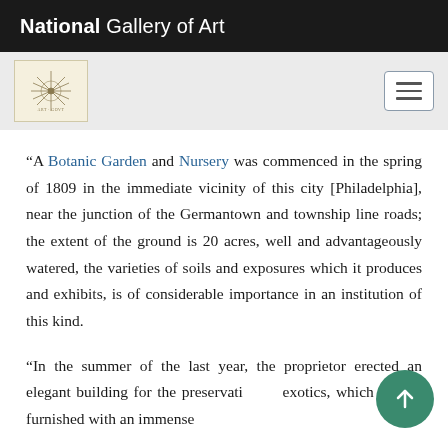National Gallery of Art
[Figure (logo): National Gallery of Art logo — decorative star/compass motif on cream background]
“A Botanic Garden and Nursery was commenced in the spring of 1809 in the immediate vicinity of this city [Philadelphia], near the junction of the Germantown and township line roads; the extent of the ground is 20 acres, well and advantageously watered, the varieties of soils and exposures which it produces and exhibits, is of considerable importance in an institution of this kind.
“In the summer of the last year, the proprietor erected an elegant building for the preservation exotics, which is now furnished with an immense